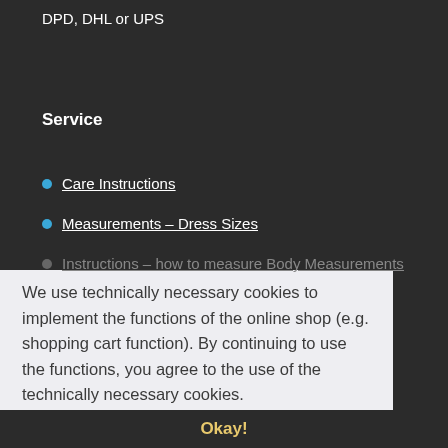DPD, DHL or UPS
Service
Care Instructions
Measurements – Dress Sizes
Instructions – how to measure Body Measurements
We use technically necessary cookies to implement the functions of the online shop (e.g. shopping cart function). By continuing to use the functions, you agree to the use of the technically necessary cookies.
Okay!